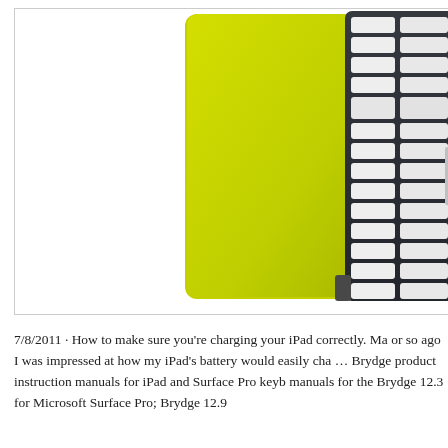[Figure (photo): Product photo of a yellow-green iPad case/cover shown alongside a black Bluetooth keyboard with white keys. The case is a flat, lime-green rectangular panel with rounded corners and a small logo dot near the bottom right. The keyboard is dark/charcoal colored with white individual keys arranged in vertical columns, with a light gray pull tab on the right side.]
7/8/2011 · How to make sure you're charging your iPad correctly. Ma or so ago I was impressed at how my iPad's battery would easily cha … Brydge product instruction manuals for iPad and Surface Pro keyb manuals for the Brydge 12.3 for Microsoft Surface Pro; Brydge 12.9